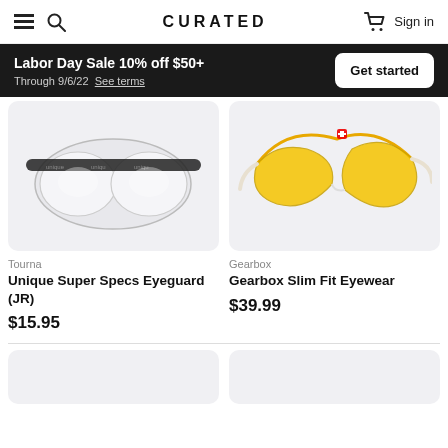CURATED — Sign in
Labor Day Sale 10% off $50+
Through 9/6/22  See terms
Get started
[Figure (photo): Tourna Unique Super Specs Eyeguard (JR) — clear safety goggles with branded black strap]
Tourna
Unique Super Specs Eyeguard (JR)
$15.95
[Figure (photo): Gearbox Slim Fit Eyewear — sports eyewear with yellow tinted lenses and white frame]
Gearbox
Gearbox Slim Fit Eyewear
$39.99